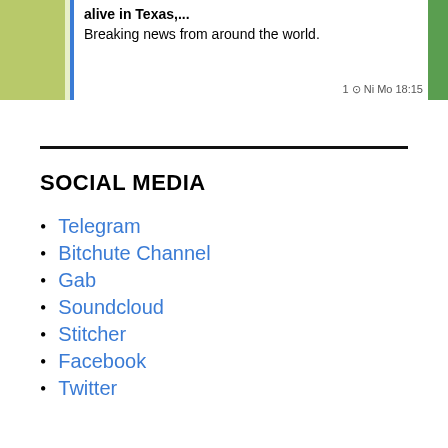[Figure (screenshot): Screenshot of a messaging app (likely Telegram) showing a chat preview with green background, a left-bordered text area with bold text 'alive in Texas,...' and 'Breaking news from around the world.' and a timestamp '1 Ni Mo 18:15' at the bottom right.]
SOCIAL MEDIA
Telegram
Bitchute Channel
Gab
Soundcloud
Stitcher
Facebook
Twitter